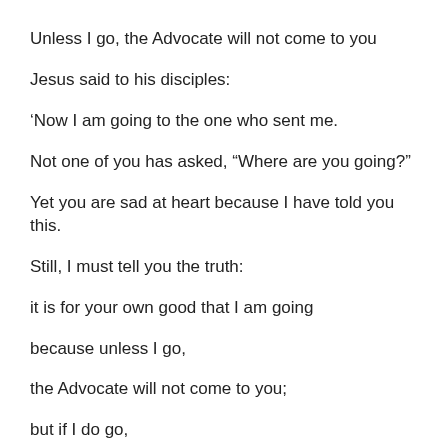Unless I go, the Advocate will not come to you
Jesus said to his disciples:
‘Now I am going to the one who sent me.
Not one of you has asked, “Where are you going?”
Yet you are sad at heart because I have told you this.
Still, I must tell you the truth:
it is for your own good that I am going
because unless I go,
the Advocate will not come to you;
but if I do go,